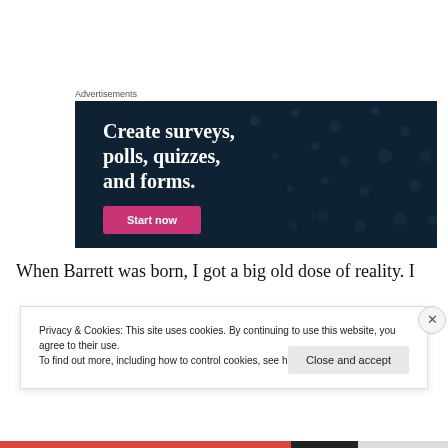Advertisements
[Figure (screenshot): Dark navy advertisement banner with white serif bold text reading 'Create surveys, polls, quizzes, and forms.' and a pink 'Start now' button at the bottom left. Background has subtle dot pattern.]
When Barrett was born, I got a big old dose of reality. I
Privacy & Cookies: This site uses cookies. By continuing to use this website, you agree to their use.
To find out more, including how to control cookies, see here: Cookie Policy
Close and accept